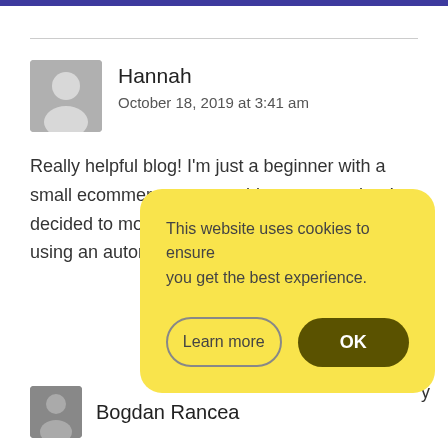Hannah
October 18, 2019 at 3:41 am
Really helpful blog! I'm just a beginner with a small ecommerce store on bigcommerce but I decided to move to woocommerce recently by using an automated migration called [partially obscured] erfect [partially obscured] y
[Figure (screenshot): Cookie consent banner with yellow background, reading 'This website uses cookies to ensure you get the best experience.' with 'Learn more' and 'OK' buttons]
Bogdan Rancea